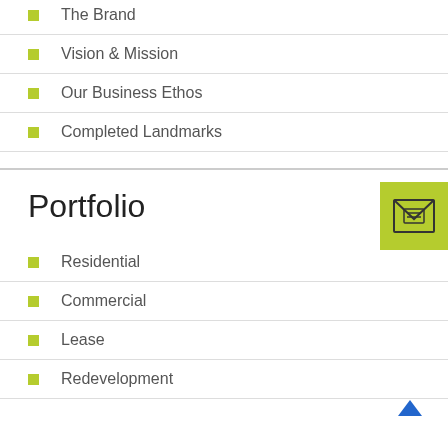The Brand
Vision & Mission
Our Business Ethos
Completed Landmarks
Portfolio
Residential
Commercial
Lease
Redevelopment